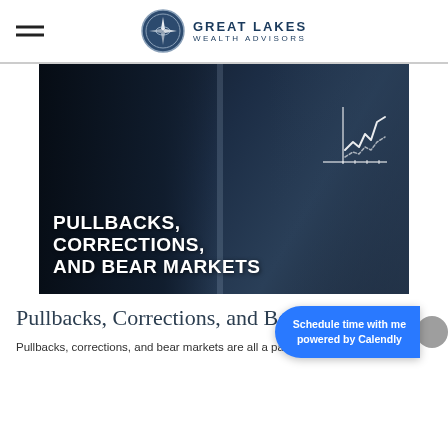Great Lakes Wealth Advisors
[Figure (photo): Dark moody photo of a person looking at a glass panel with stock chart overlay, overlaid with bold white text: PULLBACKS, CORRECTIONS, AND BEAR MARKETS]
Pullbacks, Corrections, and Bear Markets
Pullbacks, corrections, and bear markets are all a part of the